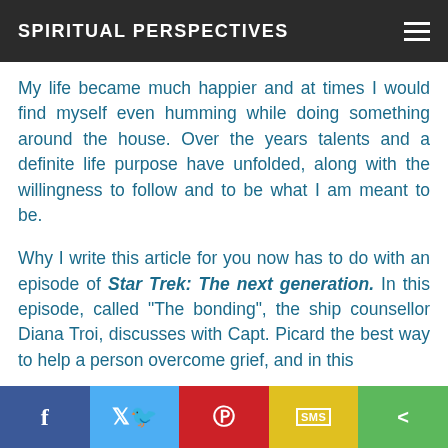SPIRITUAL PERSPECTIVES
My life became much happier and at times I would find myself even humming while doing something around the house. Over the years talents and a definite life purpose have unfolded, along with the willingness to follow and to be what I am meant to be.
Why I write this article for you now has to do with an episode of Star Trek: The next generation. In this episode, called “The bonding”, the ship counsellor Diana Troi, discusses with Capt. Picard the best way to help a person overcome grief, and in this
f  [twitter]  [pinterest]  SMS  [share]